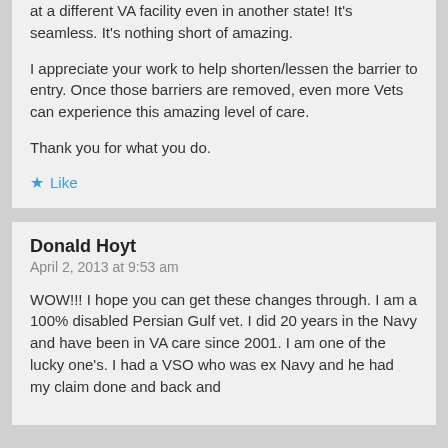at a different VA facility even in another state! It's seamless. It's nothing short of amazing.
I appreciate your work to help shorten/lessen the barrier to entry. Once those barriers are removed, even more Vets can experience this amazing level of care.
Thank you for what you do.
Like
Donald Hoyt
April 2, 2013 at 9:53 am
WOW!!! I hope you can get these changes through. I am a 100% disabled Persian Gulf vet. I did 20 years in the Navy and have been in VA care since 2001. I am one of the lucky one's. I had a VSO who was ex Navy and he had my claim done and back and